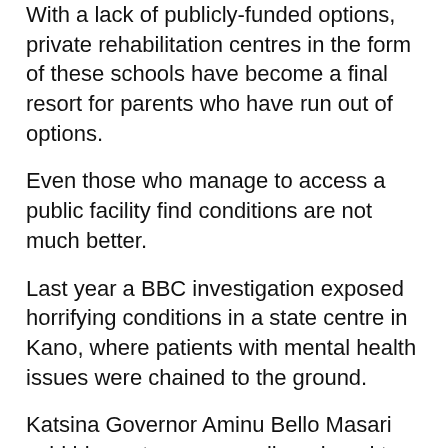With a lack of publicly-funded options, private rehabilitation centres in the form of these schools have become a final resort for parents who have run out of options.
Even those who manage to access a public facility find conditions are not much better.
Last year a BBC investigation exposed horrifying conditions in a state centre in Kano, where patients with mental health issues were chained to the ground.
Katsina Governor Aminu Bello Masari said his centres were well-equipped to provide the rehabilitation needed for drug abuse or mental disorders.
But with parents still turning to centres that say they rehabilitate people in the name of Islam, it is not clear that the government has the capacity to deal with the problem.
And with no concrete alternatives, desperate families will keep turning to religious centres for solutions.
By Mansai J...